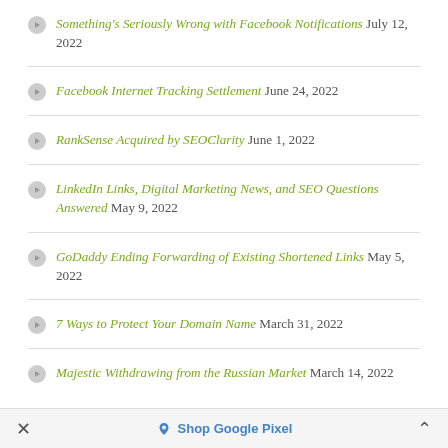Something's Seriously Wrong with Facebook Notifications July 12, 2022
Facebook Internet Tracking Settlement June 24, 2022
RankSense Acquired by SEOClarity June 1, 2022
LinkedIn Links, Digital Marketing News, and SEO Questions Answered May 9, 2022
GoDaddy Ending Forwarding of Existing Shortened Links May 5, 2022
7 Ways to Protect Your Domain Name March 31, 2022
Majestic Withdrawing from the Russian Market March 14, 2022
× Shop Google Pixel ^